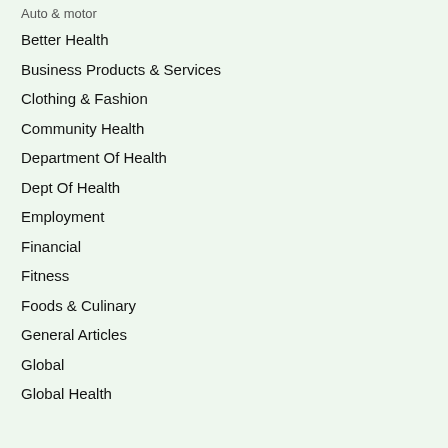Better Health
Business Products & Services
Clothing & Fashion
Community Health
Department Of Health
Dept Of Health
Employment
Financial
Fitness
Foods & Culinary
General Articles
Global
Global Health